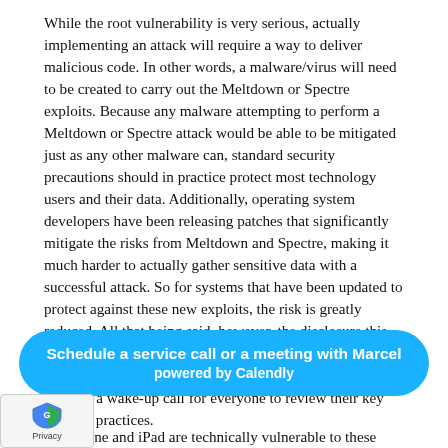While the root vulnerability is very serious, actually implementing an attack will require a way to deliver malicious code. In other words, a malware/virus will need to be created to carry out the Meltdown or Spectre exploits. Because any malware attempting to perform a Meltdown or Spectre attack would be able to be mitigated just as any other malware can, standard security precautions should in practice protect most technology users and their data. Additionally, operating system developers have been releasing patches that significantly mitigate the risks from Meltdown and Spectre, making it much harder to actually gather sensitive data with a successful attack. So for systems that have been updated to protect against these new exploits, the risk is greatly reduced. All that being said, however, the disclosure this vulnerability in a key architectural function of the processors we use in all our technology devices should serve as a wake-up call for everyone to review their key security practices.
The key thing to keep in mind is that the more secure your technology platform is, the more secure you will be from ... in the iPhone and iPad are technically vulnerable to these
[Figure (infographic): Calendly scheduling widget bar with text 'Schedule a service call or a meeting with Marcel powered by Calendly' in white text on blue rounded rectangle background]
[Figure (logo): Google reCAPTCHA privacy badge with shield icon and 'Privacy' text]